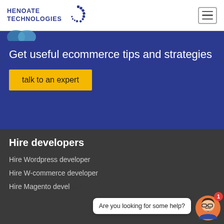HENOATE TECHNOLOGIES
[Figure (illustration): Henoate Technologies logo with circular dotted arc icon and company name in dark blue]
Get useful ecommerce tips and strategies
talk to an expert
Hire developers
Hire Wordpress developer
Hire W-commerce developer
Hire Magento developer
[Figure (illustration): Chat widget with avatar of bearded man with glasses, red notification badge showing 1, and speech bubble saying 'Are you looking for some help?']